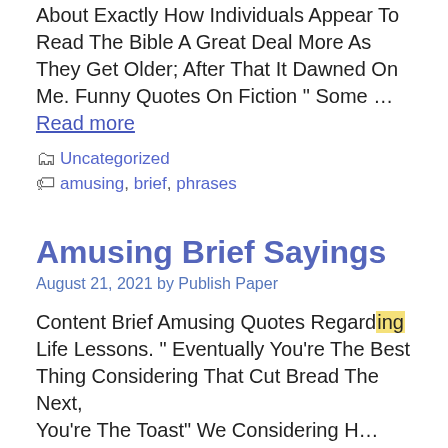About Exactly How Individuals Appear To Read The Bible A Great Deal More As They Get Older; After That It Dawned On Me. Funny Quotes On Fiction “ Some … Read more
Uncategorized
amusing, brief, phrases
Amusing Brief Sayings
August 21, 2021 by Publish Paper
Content Brief Amusing Quotes Regarding Life Lessons. “ Eventually You’re The Best Thing Considering That Cut Bread The Next, You’re The Toast” We Considering H…